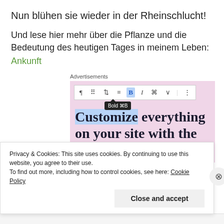Nun blühen sie wieder in der Rheinschlucht!
Und lese hier mehr über die Pflanze und die Bedeutung des heutigen Tages in meinem Leben:
Ankunft
Advertisements
[Figure (screenshot): WordPress block editor screenshot showing a toolbar with Bold (⌘B) tooltip and an advertisement reading 'Customize everything on your site with the new Site Editor.' on a pink background.]
Privacy & Cookies: This site uses cookies. By continuing to use this website, you agree to their use.
To find out more, including how to control cookies, see here: Cookie Policy
Close and accept